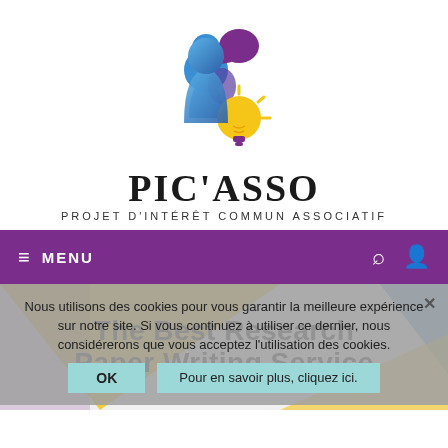[Figure (logo): PIC'ASSO logo with stylized person icon (blue/purple) and lightbulb (yellow/purple) graphic, with text PIC'ASSO and subtitle PROJET D'INTÉRÊT COMMUN ASSOCIATIF]
≡  MENU
Nous utilisons des cookies pour vous garantir la meilleure expérience sur notre site. Si vous continuez à utiliser ce dernier, nous considérerons que vous acceptez l'utilisation des cookies.
The Best Research Paper Writing Service
OK   Pour en savoir plus, cliquez ici.